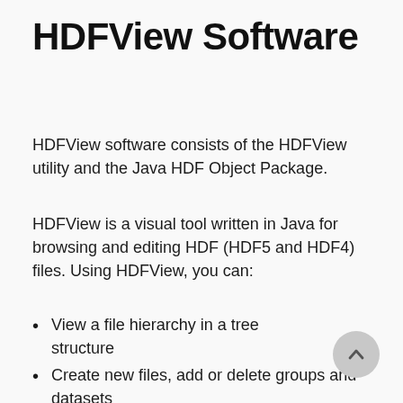HDFView Software
HDFView software consists of the HDFView utility and the Java HDF Object Package.
HDFView is a visual tool written in Java for browsing and editing HDF (HDF5 and HDF4) files. Using HDFView, you can:
View a file hierarchy in a tree structure
Create new files, add or delete groups and datasets